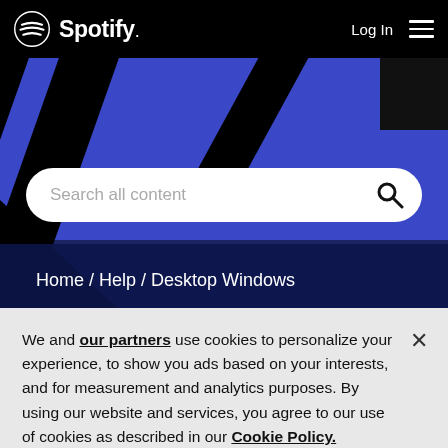[Figure (screenshot): Spotify website header with black navigation bar showing Spotify logo, Log In text, and hamburger menu icon]
[Figure (screenshot): Blue geometric decorative hero background with abstract shapes]
[Figure (screenshot): White rounded search bar with placeholder text 'Search all content' and search icon]
Home / Help / Desktop Windows
Q Spotify won't play "local files"
We and our partners use cookies to personalize your experience, to show you ads based on your interests, and for measurement and analytics purposes. By using our website and services, you agree to our use of cookies as described in our Cookie Policy.